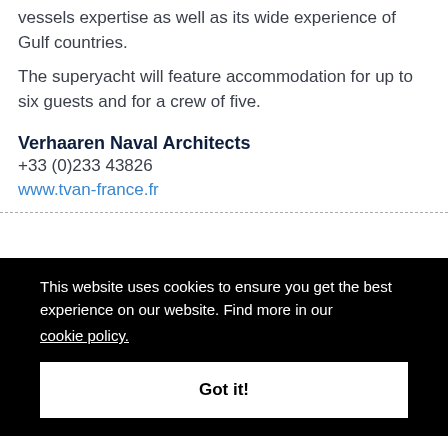vessels expertise as well as its wide experience of Gulf countries.
The superyacht will feature accommodation for up to six guests and for a crew of five.
Verhaaren Naval Architects
+33 (0)233 43826
www.tvan-france.fr
This website uses cookies to ensure you get the best experience on our website. Find more in our cookie policy.
Got it!